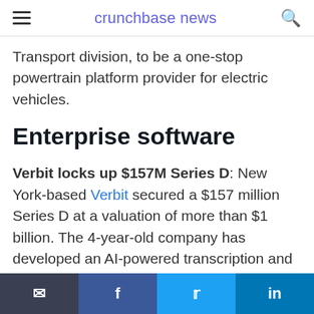crunchbase news
Transport division, to be a one-stop powertrain platform provider for electric vehicles.
Enterprise software
Verbit locks up $157M Series D: New York-based Verbit secured a $157 million Series D at a valuation of more than $1 billion. The 4-year-old company has developed an AI-powered transcription and captioning
Email | Facebook | Twitter | LinkedIn